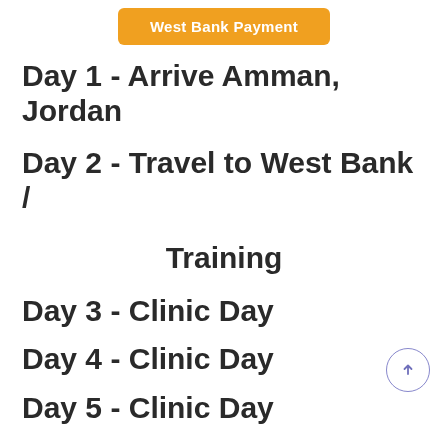West Bank Payment
Day 1 - Arrive Amman, Jordan
Day 2 - Travel to West Bank /
Training
Day 3 - Clinic Day
Day 4 - Clinic Day
Day 5 - Clinic Day